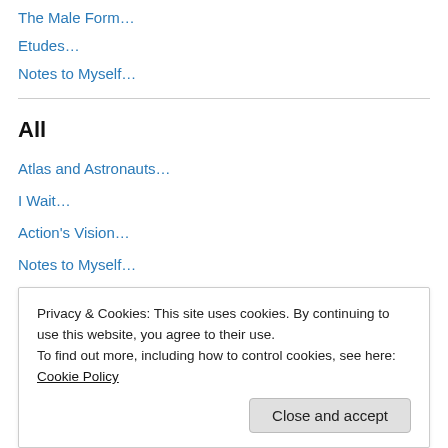The Male Form…
Etudes…
Notes to Myself…
All
Atlas and Astronauts…
I Wait…
Action's Vision…
Notes to Myself…
The Rain…
The Rape of the Masters…
A Poet's Song…
Privacy & Cookies: This site uses cookies. By continuing to use this website, you agree to their use.
To find out more, including how to control cookies, see here: Cookie Policy
Postcard…
The Female F…